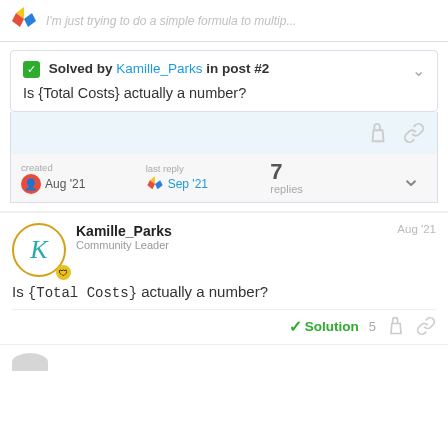I'm just trying to do a simple formula to multip...
Solved by Kamille_Parks in post #2
Is {Total Costs} actually a number?
created Aug '21  last reply Sep '21  7 replies
Kamille_Parks Community Leader Aug '21
Is {Total Costs} actually a number?
Solution  5